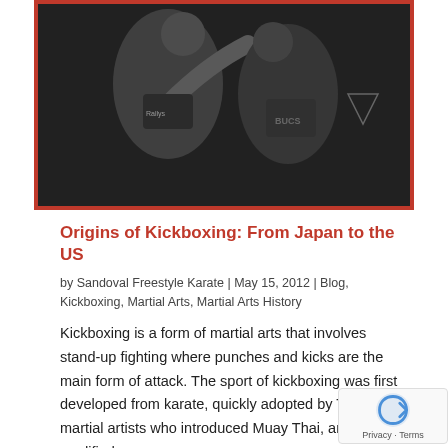[Figure (photo): Black and white photo of two kickboxers fighting in a ring, with a red border frame around the image.]
Origins of Kickboxing: From Japan to the US
by Sandoval Freestyle Karate | May 15, 2012 | Blog, Kickboxing, Martial Arts, Martial Arts History
Kickboxing is a form of martial arts that involves stand-up fighting where punches and kicks are the main form of attack. The sport of kickboxing was first developed from karate, quickly adopted by Thailand martial artists who introduced Muay Thai, and later modified…